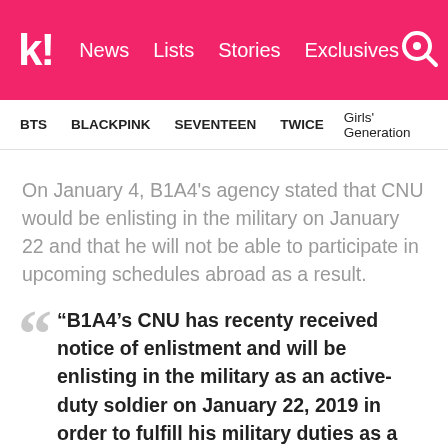k! News Lists Stories Exclusives
BTS  BLACKPINK  SEVENTEEN  TWICE  Girls' Generation
On January 4, B1A4's agency stated that CNU would be enlisting in the military on January 22 and that he will not be able to participate in upcoming schedules abroad as a result.
“B1A4’s CNU has recenty received notice of enlistment and will be enlisting in the military as an active-duty soldier on January 22, 2019 in order to fulfill his military duties as a citizen of South Korea. As a result, he will be forced to be unable to attend...